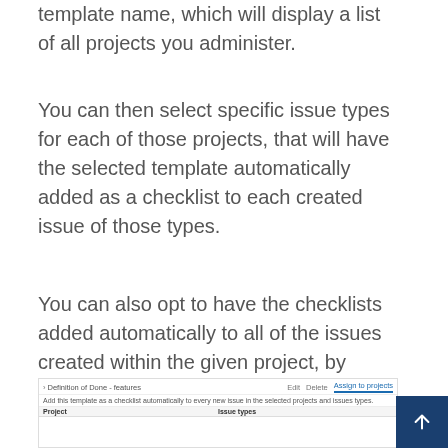template name, which will display a list of all projects you administer.
You can then select specific issue types for each of those projects, that will have the selected template automatically added as a checklist to each created issue of those types.
You can also opt to have the checklists added automatically to all of the issues created within the given project, by selecting the “Select all” checkbox, next to the issue types.
[Figure (screenshot): Screenshot showing a checklist template UI with 'Definition of Done - features' template name, Edit/Delete/Assign to projects action links, a description 'Add this template as a checklist automatically to every new issue in the selected projects and issues types.', and a table header with 'Project' and 'Issue types' columns.]